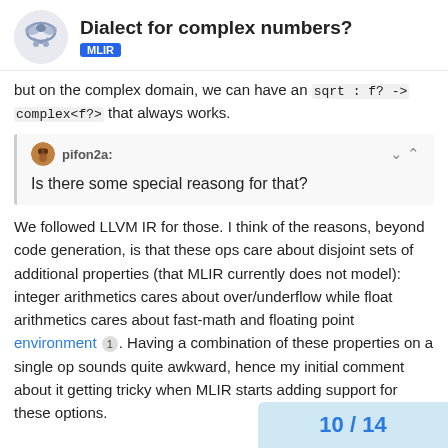Dialect for complex numbers? — MLIR
but on the complex domain, we can have an sqrt : f? -> complex<f?> that always works.
pifon2a: Is there some special reasong for that?
We followed LLVM IR for those. I think of the reasons, beyond code generation, is that these ops care about disjoint sets of additional properties (that MLIR currently does not model): integer arithmetics cares about over/underflow while float arithmetics cares about fast-math and floating point environment 1. Having a combination of these properties on a single op sounds quite awkward, hence my initial comment about it getting tricky when MLIR starts adding support for these options.
10 / 14